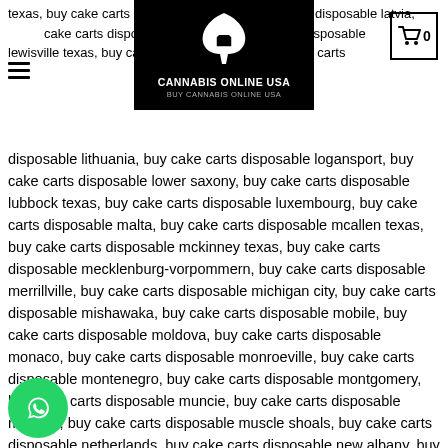texas, buy cake carts disposable cake carts disposable latvia, cake carts disposable la cake carts disposable lewisville texas, buy cake ca burg, buy cake carts disposable
[Figure (logo): Cannabis Online USA logo — black background with white cannabis leaf and house icon, text 'CANNABIS ONLINE USA / BUY CANNABIS ONLINE USA']
disposable lithuania, buy cake carts disposable logansport, buy cake carts disposable lower saxony, buy cake carts disposable lubbock texas, buy cake carts disposable luxembourg, buy cake carts disposable malta, buy cake carts disposable mcallen texas, buy cake carts disposable mckinney texas, buy cake carts disposable mecklenburg-vorpommern, buy cake carts disposable merrillville, buy cake carts disposable michigan city, buy cake carts disposable mishawaka, buy cake carts disposable mobile, buy cake carts disposable moldova, buy cake carts disposable monaco, buy cake carts disposable monroeville, buy cake carts disposable montenegro, buy cake carts disposable montgomery, buy cake carts disposable muncie, buy cake carts disposable munster, buy cake carts disposable muscle shoals, buy cake carts disposable netherlands, buy cake carts disposable new albany, buy cake carts disposable new braunfels texas, buy cake carts disposable new castle, buy cake carts disposable noblesville, buy cake carts disposable north brabant, buy cake carts disposable north holland, buy cake carts disposable north nia, buy cake carts disposable north rhine-westphalia, buy cake carts disposable north vernon, buy cake carts disposable norway, buy cake carts disposable notre dame, buy cake carts disposable opelika, buy